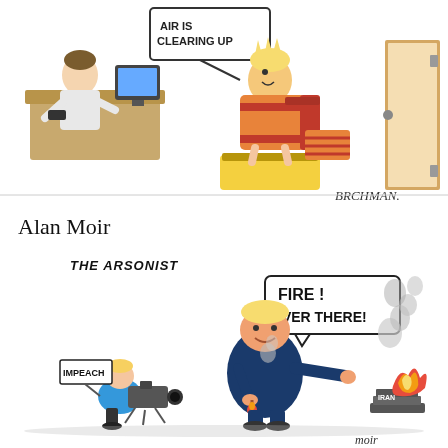[Figure (illustration): A political cartoon by Brchman showing a doctor's office scene. A doctor sits behind a desk, a patient sits in a chair with legs buried in sand, and a sign reads 'AIR IS CLEARING UP'. Signed 'BRCHMAN'.]
Alan Moir
[Figure (illustration): A political cartoon by Alan Moir titled 'THE ARSONIST'. Shows a large figure (Trump-like) holding a lit match near a fire labeled 'IRAN', while shouting 'FIRE! OVER THERE!' in a speech bubble. A small figure with a camera and 'IMPEACH' sign kneels nearby. Smoke rises on the right. Signed 'moir'.]